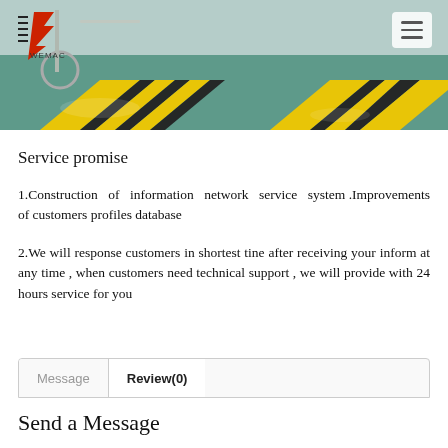[Figure (photo): Factory/industrial floor photo with yellow and black hazard stripes, steel piping, green floor, with company logo (WEMAC) overlay in top-left and hamburger menu icon in top-right]
Service promise
1.Construction of information network service system .Improvements of customers profiles database
2.We will response customers in shortest tine after receiving your inform at any time , when customers need technical support , we will provide with 24 hours service for you
Message   Review(0)
Send a Message